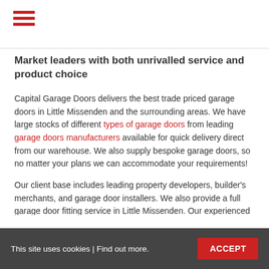☰ (hamburger menu icon)
Market leaders with both unrivalled service and product choice
Capital Garage Doors delivers the best trade priced garage doors in Little Missenden and the surrounding areas. We have large stocks of different types of garage doors from leading garage doors manufacturers available for quick delivery direct from our warehouse. We also supply bespoke garage doors, so no matter your plans we can accommodate your requirements!
Our client base includes leading property developers, builder's merchants, and garage door installers. We also provide a full garage door fitting service in Little Missenden. Our experienced garage door fitters will complete an installation to the highest possible of standards, regardless of the door type or application.
This site uses cookies | Find out more.   ACCEPT